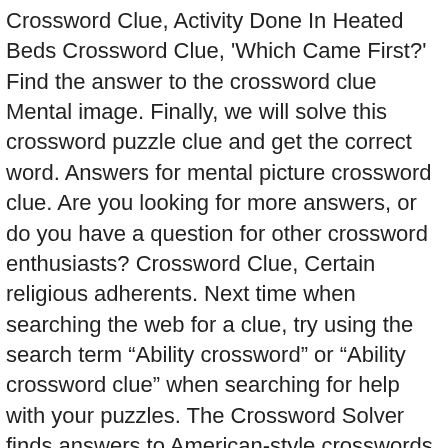Crossword Clue, Activity Done In Heated Beds Crossword Clue, 'Which Came First?' Find the answer to the crossword clue Mental image. Finally, we will solve this crossword puzzle clue and get the correct word. Answers for mental picture crossword clue. Are you looking for more answers, or do you have a question for other crossword enthusiasts? Crossword Clue, Certain religious adherents. Next time when searching the web for a clue, try using the search term “Ability crossword” or “Ability crossword clue” when searching for help with your puzzles. The Crossword Solver finds answers to American-style crosswords, British-style crosswords, general knowledge crosswords and cryptic crossword puzzles. crossword-solver.io, Specialty of the two-faced. This crossword clue is for the definition: Ability. This site is for entertainment and informational purposes only. Populer Crossword Clue . If you're still haven't solved the crossword clue Mental image then why not search our database by the letters you have already! Enter the answer length or the answer pattern to get better results. Enter the answer length or the answer pattern to get better